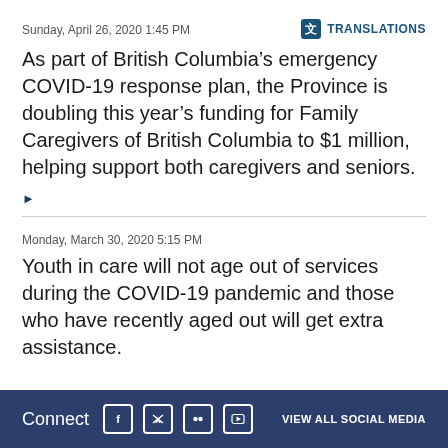Sunday, April 26, 2020 1:45 PM
TRANSLATIONS
As part of British Columbia’s emergency COVID-19 response plan, the Province is doubling this year’s funding for Family Caregivers of British Columbia to $1 million, helping support both caregivers and seniors.
►
Monday, March 30, 2020 5:15 PM
Youth in care will not age out of services during the COVID-19 pandemic and those who have recently aged out will get extra assistance.
Connect  VIEW ALL SOCIAL MEDIA